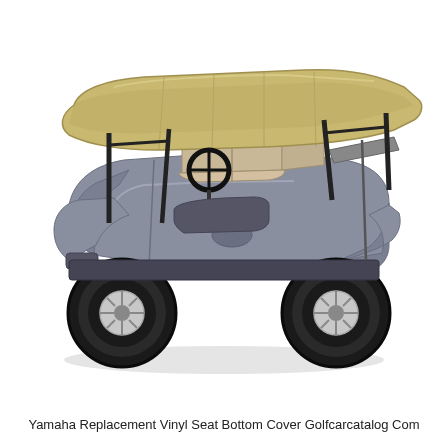[Figure (photo): A silver/gray Yamaha golf cart with a tan/beige canopy roof and tan vinyl seats, viewed from a three-quarter front-left angle. The golf cart has four wheels with silver-spoked hubcaps, black roll bar supports, and a black steering wheel. The body is metallic silver-gray. Background is white.]
Yamaha Replacement Vinyl Seat Bottom Cover Golfcarcatalog Com